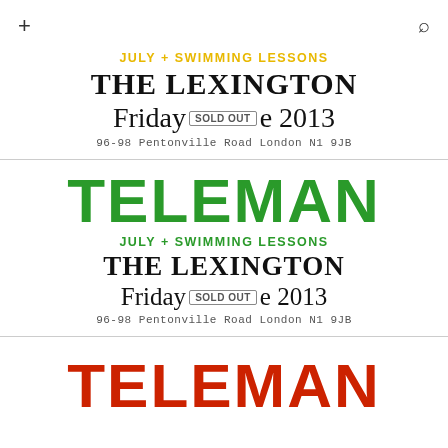+ [search icon]
JULY + SWIMMING LESSONS
THE LEXINGTON
Friday [SOLD OUT] e 2013
96-98 Pentonville Road London N1 9JB
TELEMAN
JULY + SWIMMING LESSONS
THE LEXINGTON
Friday [SOLD OUT] e 2013
96-98 Pentonville Road London N1 9JB
TELEMAN